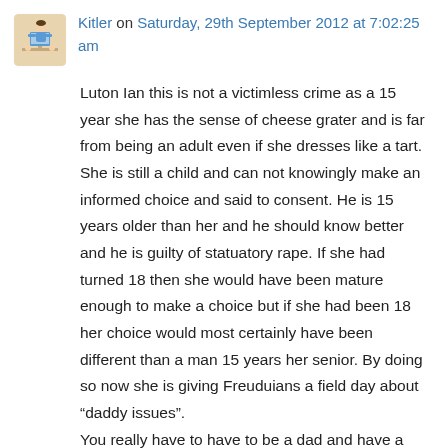Kitler on Saturday, 29th September 2012 at 7:02:25 am
Luton Ian this is not a victimless crime as a 15 year she has the sense of cheese grater and is far from being an adult even if she dresses like a tart. She is still a child and can not knowingly make an informed choice and said to consent. He is 15 years older than her and he should know better and he is guilty of statuatory rape. If she had turned 18 then she would have been mature enough to make a choice but if she had been 18 her choice would most certainly have been different than a man 15 years her senior. By doing so now she is giving Freuduians a field day about “daddy issues”.
You really have to have to be a dad and have a